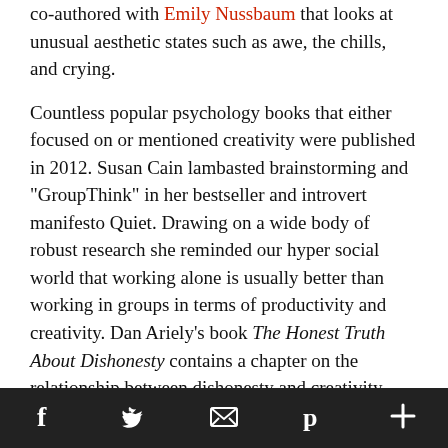co-authored with Emily Nussbaum that looks at unusual aesthetic states such as awe, the chills, and crying.
Countless popular psychology books that either focused on or mentioned creativity were published in 2012. Susan Cain lambasted brainstorming and "GroupThink" in her bestseller and introvert manifesto Quiet. Drawing on a wide body of robust research she reminded our hyper social world that working alone is usually better than working in groups in terms of productivity and creativity. Dan Ariely's book The Honest Truth About Dishonesty contains a chapter on the relationship between dishonesty and creativity – honesty might not be good for creativity. The Power Of Habit by Charles Duhigg made some important suggestions for creativity: if you're in a rut, try changing your routine. The elephant in the
Social share bar with Facebook, Twitter, Email, Pinterest, More icons